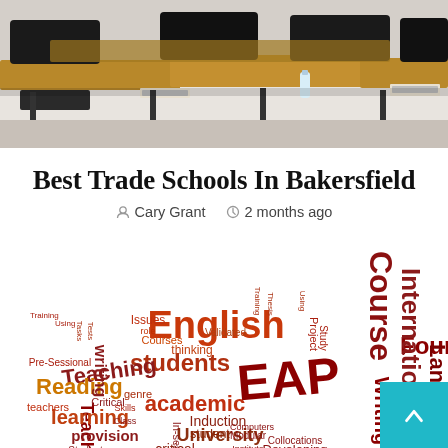[Figure (photo): Classroom or conference room with rows of wooden desks and black chairs, name placards and a water bottle visible on the tables.]
Best Trade Schools In Bakersfield
Cary Grant   2 months ago
[Figure (infographic): Word cloud related to English language education featuring terms such as English, EAP, Course, Foundation, International, Language, Academic, Writing, Teaching, students, academic, learning, Reading, provision, University, Induction, Developing, Collocations, critical, thinking, Courses, Issues, Pre-Sessional, and many more in various sizes and shades of red, orange, and dark red.]